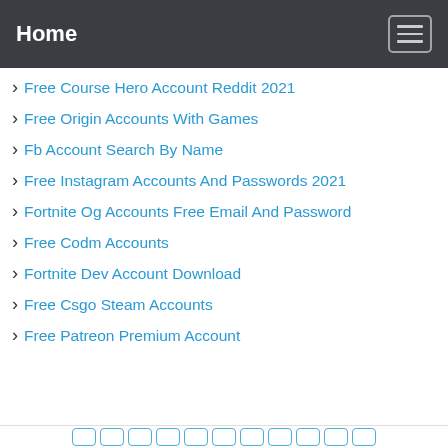Home
Free Course Hero Account Reddit 2021
Free Origin Accounts With Games
Fb Account Search By Name
Free Instagram Accounts And Passwords 2021
Fortnite Og Accounts Free Email And Password
Free Codm Accounts
Fortnite Dev Account Download
Free Csgo Steam Accounts
Free Patreon Premium Account
pagination buttons